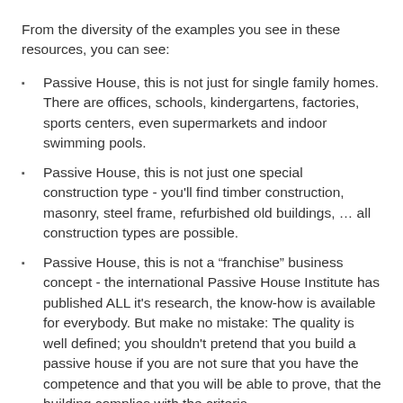From the diversity of the examples you see in these resources, you can see:
Passive House, this is not just for single family homes. There are offices, schools, kindergartens, factories, sports centers, even supermarkets and indoor swimming pools.
Passive House, this is not just one special construction type - you'll find timber construction, masonry, steel frame, refurbished old buildings, … all construction types are possible.
Passive House, this is not a “franchise” business concept - the international Passive House Institute has published ALL it's research, the know-how is available for everybody. But make no mistake: The quality is well defined; you shouldn't pretend that you build a passive house if you are not sure that you have the competence and that you will be able to prove, that the building complies with the criteria.